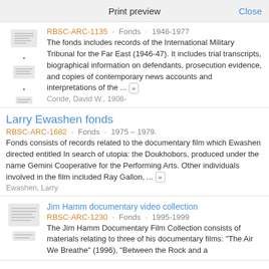Print preview   Close
RBSC-ARC-1135 · Fonds · 1946-1977
The fonds includes records of the International Military Tribunal for the Far East (1946-47). It includes trial transcripts, biographical information on defendants, prosecution evidence, and copies of contemporary news accounts and interpretations of the ... »
Conde, David W., 1906-
Larry Ewashen fonds
RBSC-ARC-1682 · Fonds · 1975 – 1979.
Fonds consists of records related to the documentary film which Ewashen directed entitled In search of utopia: the Doukhobors, produced under the name Gemini Cooperative for the Performing Arts. Other individuals involved in the film included Ray Gallon, ... »
Ewashen, Larry
Jim Hamm documentary video collection
RBSC-ARC-1230 · Fonds · 1995-1999
The Jim Hamm Documentary Film Collection consists of materials relating to three of his documentary films: "The Air We Breathe" (1996), "Between the Rock and a